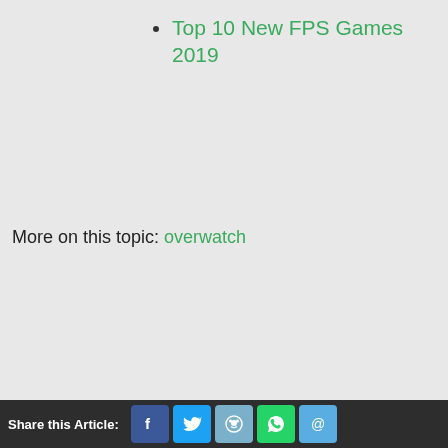Top 10 New FPS Games 2019
More on this topic: overwatch
Share this Article: [Facebook] [Twitter] [Reddit] [WhatsApp] [Email]